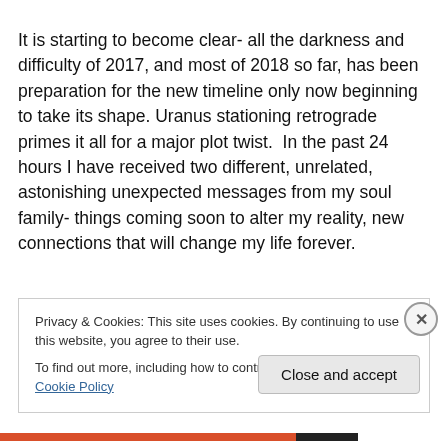It is starting to become clear- all the darkness and difficulty of 2017, and most of 2018 so far, has been preparation for the new timeline only now beginning to take its shape. Uranus stationing retrograde primes it all for a major plot twist.  In the past 24 hours I have received two different, unrelated, astonishing unexpected messages from my soul family- things coming soon to alter my reality, new connections that will change my life forever.
Privacy & Cookies: This site uses cookies. By continuing to use this website, you agree to their use.
To find out more, including how to control cookies, see here: Cookie Policy
Close and accept